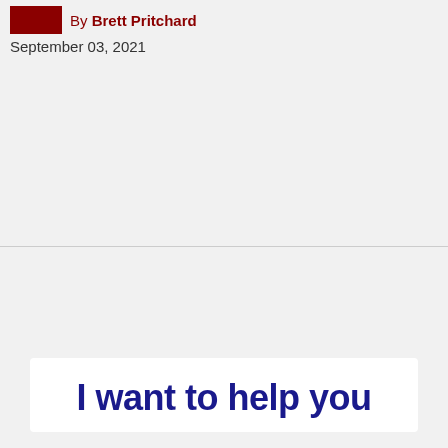By Brett Pritchard
September 03, 2021
[Figure (other): Promotional banner with text: I want to help you]
I want to help you